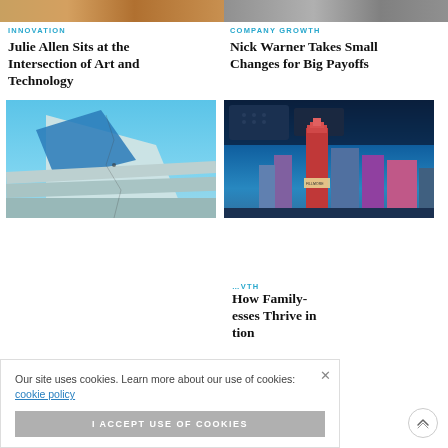[Figure (photo): Top partial photo strip left — warm toned persons photo cropped at top]
[Figure (photo): Top partial photo strip right — grey toned photo cropped at top]
INNOVATION
Julie Allen Sits at the Intersection of Art and Technology
COMPANY GROWTH
Nick Warner Takes Small Changes for Big Payoffs
[Figure (photo): Abstract architectural geometric art photo with blue tones and staircase shapes]
[Figure (photo): Cityscape with illuminated buildings in blue tones with speaker/tech equipment in background]
Our site uses cookies. Learn more about our use of cookies: cookie policy
I ACCEPT USE OF COOKIES
VTH
How Family-esses Thrive in tion